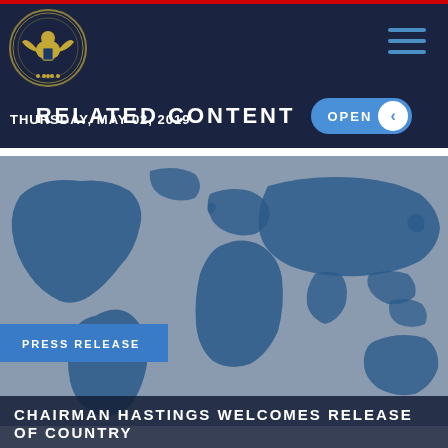[Figure (logo): Commission on Security and Cooperation in Europe seal/logo, gold eagle emblem on dark navy background]
RELATED CONTENT
OPEN
THURSDAY, MAY 02, 2019
PRESS RELEASE
[Figure (map): World map illustration in blue watercolor style on gray background]
CHAIRMAN HASTINGS WELCOMES RELEASE OF COUNTRY